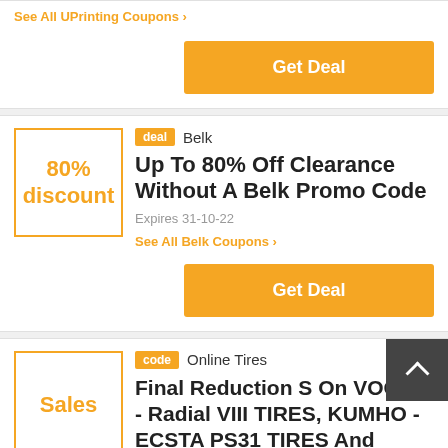See All UPrinting Coupons ›
Get Deal
deal  Belk
Up To 80% Off Clearance Without A Belk Promo Code
Expires 31-10-22
See All Belk Coupons ›
Get Deal
code  Online Tires
Final Reduction S On VOGUE - Radial VIII TIRES, KUMHO - ECSTA PS31 TIRES And